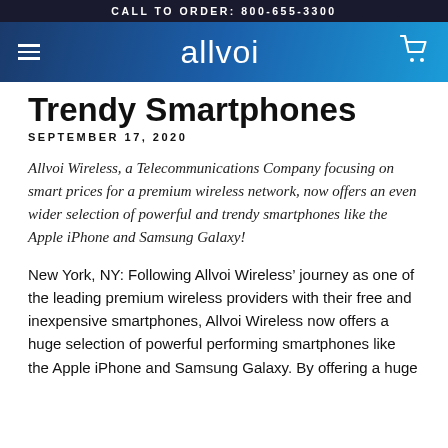CALL TO ORDER: 800-655-3300
[Figure (logo): Allvoi wireless logo with hamburger menu and cart icon on blue gradient navigation bar]
Trendy Smartphones
SEPTEMBER 17, 2020
Allvoi Wireless, a Telecommunications Company focusing on smart prices for a premium wireless network, now offers an even wider selection of powerful and trendy smartphones like the Apple iPhone and Samsung Galaxy!
New York, NY: Following Allvoi Wireless’ journey as one of the leading premium wireless providers with their free and inexpensive smartphones, Allvoi Wireless now offers a huge selection of powerful performing smartphones like the Apple iPhone and Samsung Galaxy. By offering a huge